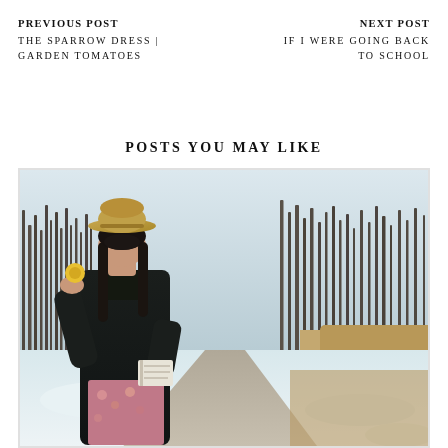PREVIOUS POST
THE SPARROW DRESS | GARDEN TOMATOES
NEXT POST
IF I WERE GOING BACK TO SCHOOL
POSTS YOU MAY LIKE
[Figure (photo): Woman wearing a tan hat, floral dress under dark coat, holding a yellow flower up to her face and holding a book, standing on a snowy path surrounded by bare winter trees]